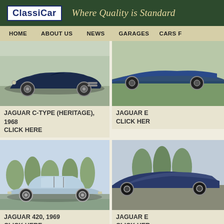ClassiCar – Where Quality is Standard
HOME  ABOUT US  NEWS  GARAGES  CARS F…
[Figure (photo): Classic navy blue Jaguar C-Type heritage racing car, 1968, side profile on open road]
JAGUAR C-TYPE (HERITAGE), 1968
CLICK HERE
[Figure (photo): Jaguar E-Type, partially cropped on right side, side profile]
JAGUAR E…
CLICK HER…
[Figure (photo): Light blue Jaguar 420 saloon car, 1969, side profile on road with trees in background]
JAGUAR 420, 1969
CLICK HERE
[Figure (photo): Dark blue Jaguar E-Type, partially cropped on right side]
JAGUAR E…
CLICK HER…